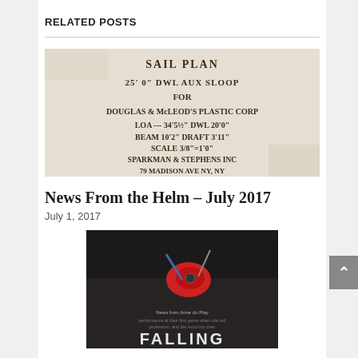RELATED POSTS
[Figure (photo): Handwritten sail plan document reading: SAIL PLAN / 25'0" DWL AUX SLOOP / FOR / DOUGLAS & McLEOD'S PLASTIC CORP / LOA --- 34'5½" DWL 20'0" / BEAM 10'2" DRAFT 3'11" / SCALE 3/8"=1'0" / SPARKMAN & STEPHENS INC / 79 MADISON AVE NY, NY]
News From the Helm – July 2017
July 1, 2017
[Figure (photo): Book cover or promotional image showing sailing/marine equipment with the word FALLING at the bottom, dark background]